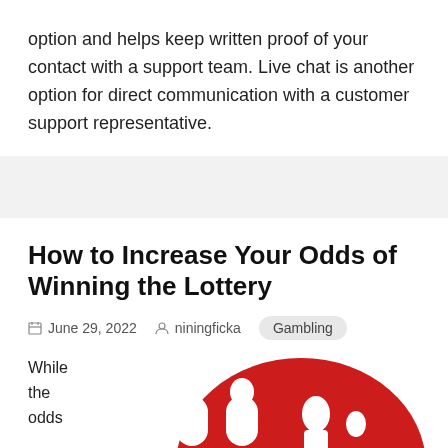option and helps keep written proof of your contact with a support team. Live chat is another option for direct communication with a customer support representative.
How to Increase Your Odds of Winning the Lottery
June 29, 2022   niningficka   Gambling
While the odds
[Figure (illustration): Red circular logo with white stylized figures/letters on it, partially visible at the bottom of the page]